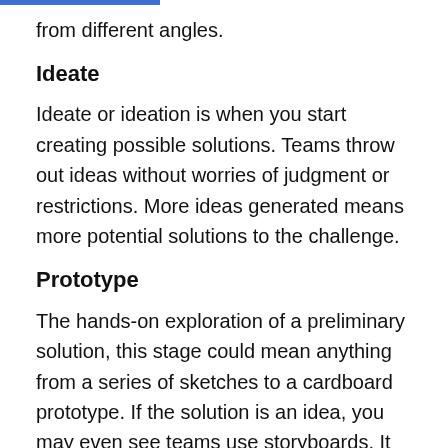from different angles.
Ideate
Ideate or ideation is when you start creating possible solutions. Teams throw out ideas without worries of judgment or restrictions. More ideas generated means more potential solutions to the challenge.
Prototype
The hands-on exploration of a preliminary solution, this stage could mean anything from a series of sketches to a cardboard prototype. If the solution is an idea, you may even see teams use storyboards. It all depends on the industry and solution.